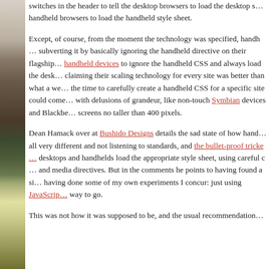[Figure (illustration): Left-side vertical strip showing a partial illustration, appears to be a sailing ship or mast against a landscape, rendered in muted browns, greens, and yellows.]
switches in the header to tell the desktop browsers to load the desktop s… handheld browsers to load the handheld style sheet.
Except, of course, from the moment the technology was specified, handh… subverting it by basically ignoring the handheld directive on their flagship… handheld devices to ignore the handheld CSS and always load the desk… claiming their scaling technology for every site was better than what a we… the time to carefully create a handheld CSS for a specific site could come… with delusions of grandeur, like non-touch Symbian devices and Blackbe… screens no taller than 400 pixels.
Dean Hamack over at Bushido Designs details the sad state of how hand… all very different and not listening to standards, and the bullet-proof tricke… desktops and handhelds load the appropriate style sheet, using careful c… and media directives. But in the comments he points to having found a si… having done some of my own experiments I concur: just using JavaScrip… way to go.
This was not how it was supposed to be, and the usual recommendation…